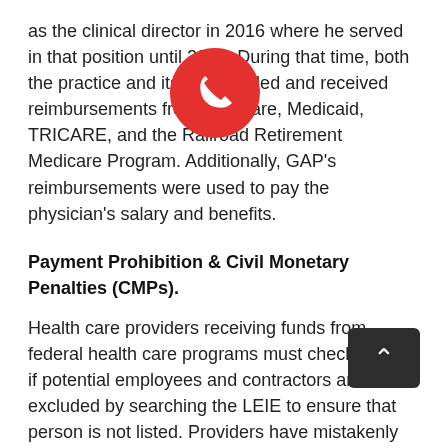as the clinical director in 2016 where he served in that position until 2021. During that time, both the practice and its owner billed and received reimbursements from Medicare, Medicaid, TRICARE, and the Railroad Retirement Medicare Program. Additionally, GAP's reimbursements were used to pay the physician's salary and benefits.
Payment Prohibition & Civil Monetary Penalties (CMPs).
Health care providers receiving funds from federal health care programs must check to see if potential employees and contractors are excluded by searching the LEIE to ensure that person is not listed. Providers have mistakenly assumed that exclusion does not apply to an individual or entity that provides services that extend beyond direct patient care; this is wrong. Payment prohibition extends to anyone who chooses to employ or contract with an excluded individual or entity in any